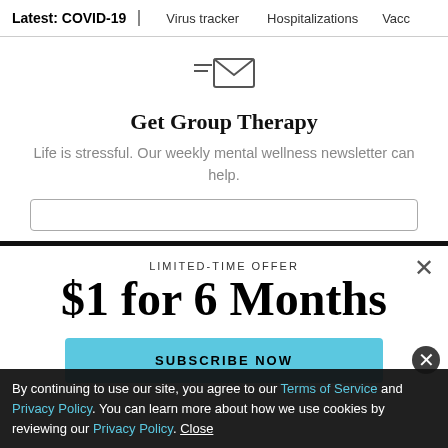Latest: COVID-19 | Virus tracker | Hospitalizations | Vacc...
[Figure (illustration): Envelope icon with lines suggesting a newsletter]
Get Group Therapy
Life is stressful. Our weekly mental wellness newsletter can help.
LIMITED-TIME OFFER
$1 for 6 Months
SUBSCRIBE NOW
By continuing to use our site, you agree to our Terms of Service and Privacy Policy. You can learn more about how we use cookies by reviewing our Privacy Policy. Close